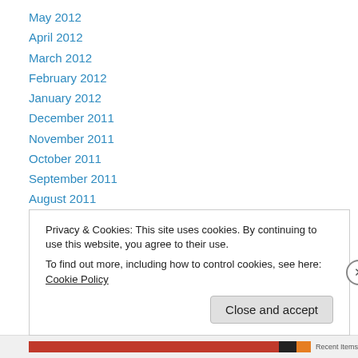May 2012
April 2012
March 2012
February 2012
January 2012
December 2011
November 2011
October 2011
September 2011
August 2011
July 2011
June 2011
March 2011
Privacy & Cookies: This site uses cookies. By continuing to use this website, you agree to their use.
To find out more, including how to control cookies, see here: Cookie Policy